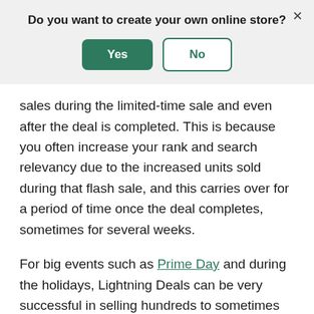[Figure (screenshot): Modal dialog banner with question 'Do you want to create your own online store?' and two buttons: a green 'Yes' button and a white/outlined 'No' button, with an X close button in the top right corner.]
sales during the limited-time sale and even after the deal is completed. This is because you often increase your rank and search relevancy due to the increased units sold during that flash sale, and this carries over for a period of time once the deal completes, sometimes for several weeks.
For big events such as Prime Day and during the holidays, Lightning Deals can be very successful in selling hundreds to sometimes thousands of units in the period of a few days.